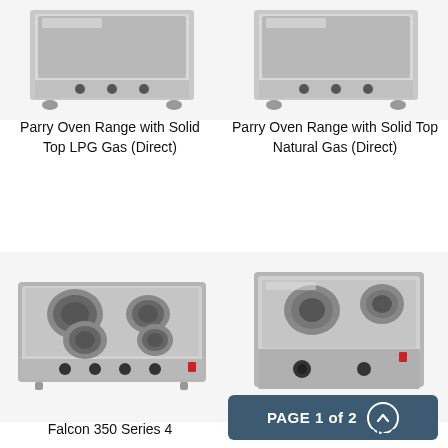[Figure (photo): Parry Oven Range with Solid Top LPG Gas (Direct) product photo, top portion visible]
[Figure (photo): Parry Oven Range with Solid Top Natural Gas (Direct) product photo, top portion visible]
Parry Oven Range with Solid Top LPG Gas (Direct)
Parry Oven Range with Solid Top Natural Gas (Direct)
[Figure (photo): Falcon 350 Series 4-plate electric boiling top unit, stainless steel, four round hotplates, four knobs]
[Figure (photo): Falcon 400 Series 2-plate electric boiling top unit, stainless steel, two round hotplates, two knobs]
Falcon 350 Series 4
FALCON 400 SERIES 2
PAGE 1 of 2